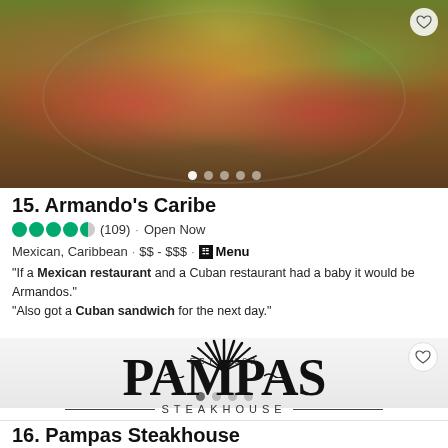[Figure (photo): Food photo showing a dish with colorful ingredients including tomatoes, onions, and vegetables on a plate, viewed from above. Pagination dots at bottom.]
15. Armando's Caribe
4.5 bubbles (109) · Open Now
Mexican, Caribbean  ·  $$ - $$$  · Menu
"If a Mexican restaurant and a Cuban restaurant had a baby it would be Armandos."
"Also got a Cuban sandwich for the next day."
[Figure (logo): Pampas Steakhouse logo with sun rays graphic, EST. 2002, large PAMPAS text, and STEAKHOUSE text below. Pagination dots visible.]
16. Pampas Steakhouse